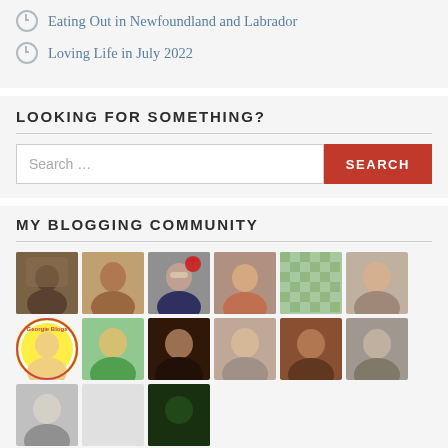Eating Out in Newfoundland and Labrador
Loving Life in July 2022
LOOKING FOR SOMETHING?
Search ...
MY BLOGGING COMMUNITY
[Figure (photo): Grid of blogger community avatar photos, 5 columns wide, showing 2.5 rows of profile pictures]